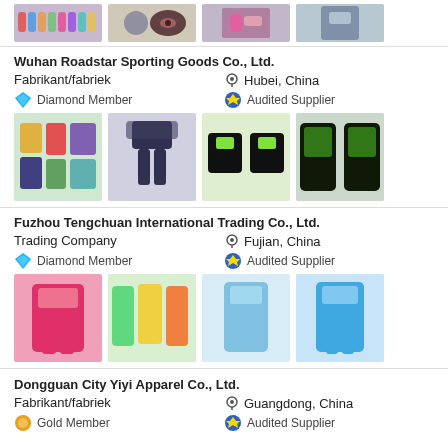[Figure (photo): Partial top strip showing product images: group of women in sportswear, two people with logo, woman in pink shorts, woman in sports bra]
Wuhan Roadstar Sporting Goods Co., Ltd.
Fabrikant/fabriek
Hubei, China
Diamond Member
Audited Supplier
[Figure (photo): Product images: colorful sportswear set, dark hoodie and pants, black and green t-shirts, black and green hoodies]
Fuzhou Tengchuan International Trading Co., Ltd.
Trading Company
Fujian, China
Diamond Member
Audited Supplier
[Figure (photo): Product images: woman in pink sportswear, three women in colorful sportswear, woman in light blue set, woman in blue set]
Dongguan City Yiyi Apparel Co., Ltd.
Fabrikant/fabriek
Guangdong, China
Gold Member
Audited Supplier